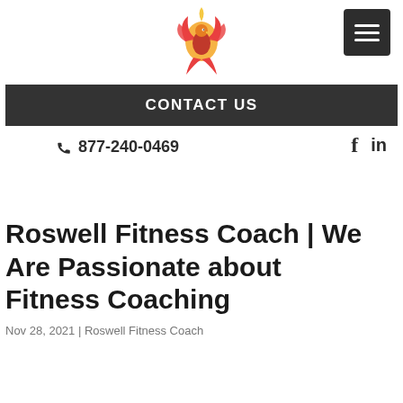[Figure (logo): Phoenix fitness logo with a stylized phoenix bird in orange and red flames above the text 'PHOENIX FRONT']
[Figure (other): Dark gray hamburger menu button with three white horizontal lines]
CONTACT US
877-240-0469
[Figure (other): Social media icons: Facebook 'f' and LinkedIn 'in']
Roswell Fitness Coach | We Are Passionate about Fitness Coaching
Nov 28, 2021 | Roswell Fitness Coach